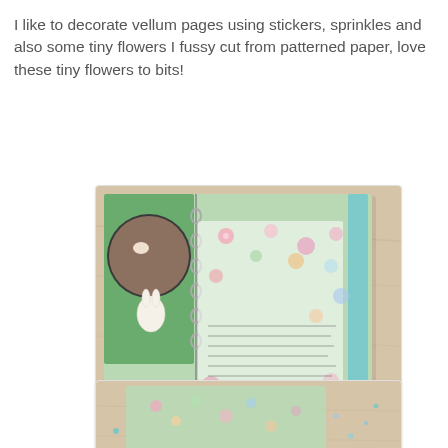I like to decorate vellum pages using stickers, sprinkles and also some tiny flowers I fussy cut from patterned paper, love these tiny flowers to bits!
[Figure (photo): Photo of a scrapbook spread open showing a vellum page decorated with floral patterned paper, stickers, flower embellishments, and handwritten journaling. A watermark reads 'doodlebug design inc' and 'Caroli Schulz'.]
[Figure (photo): Partial photo showing the bottom of another scrapbook page with green patterned paper and scattered sequins/sprinkles on a wood surface.]